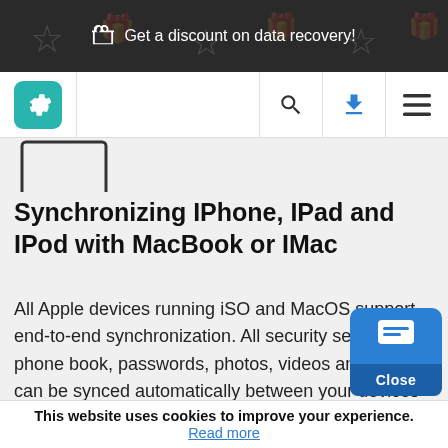Get a discount on data recovery!
[Figure (logo): Gear/settings logo icon in teal rounded square]
Synchronizing IPhone, IPad and IPod with MacBook or IMac
All Apple devices running iSO and MacOS support end-to-end synchronization. All security settings, phone book, passwords, photos, videos and music can be synced automatically between your devices with the help of ICloud. The cloud storage can also keep messenger chat history, work documents and other
This website uses cookies to improve your experience.
Read more